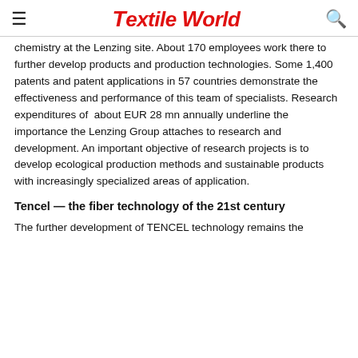Textile World
chemistry at the Lenzing site. About 170 employees work there to further develop products and production technologies. Some 1,400 patents and patent applications in 57 countries demonstrate the effectiveness and performance of this team of specialists. Research expenditures of about EUR 28 mn annually underline the importance the Lenzing Group attaches to research and development. An important objective of research projects is to develop ecological production methods and sustainable products with increasingly specialized areas of application.
Tencel — the fiber technology of the 21st century
The further development of TENCEL technology remains the